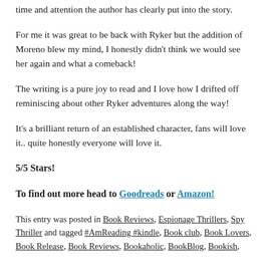time and attention the author has clearly put into the story.
For me it was great to be back with Ryker but the addition of Moreno blew my mind, I honestly didn't think we would see her again and what a comeback!
The writing is a pure joy to read and I love how I drifted off reminiscing about other Ryker adventures along the way!
It's a brilliant return of an established character, fans will love it.. quite honestly everyone will love it.
5/5 Stars!
To find out more head to Goodreads or Amazon!
This entry was posted in Book Reviews, Espionage Thrillers, Spy Thriller and tagged #AmReading #kindle, Book club, Book Lovers, Book Release, Book Reviews, Bookaholic, BookBlog, Bookish,